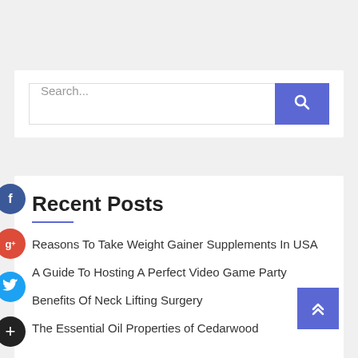Search...
Recent Posts
Reasons To Take Weight Gainer Supplements In USA
A Guide To Hosting A Perfect Video Game Party
Benefits Of Neck Lifting Surgery
The Essential Oil Properties of Cedarwood